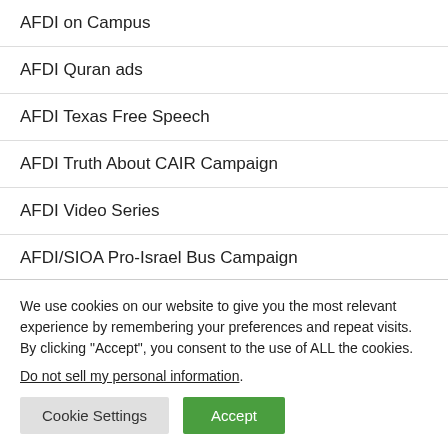AFDI on Campus
AFDI Quran ads
AFDI Texas Free Speech
AFDI Truth About CAIR Campaign
AFDI Video Series
AFDI/SIOA Pro-Israel Bus Campaign
AFDI: "Can't We Talk About This?"
We use cookies on our website to give you the most relevant experience by remembering your preferences and repeat visits. By clicking “Accept”, you consent to the use of ALL the cookies. Do not sell my personal information.